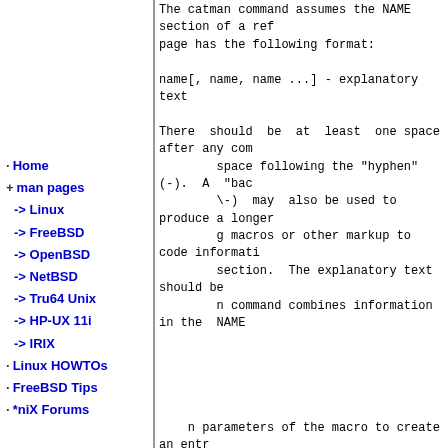The catman command assumes the NAME section of a reference page has the following format:

name[, name, name ...] - explanatory text

There should be at least one space after any com space following the "hyphen" (-). A "bac \-) may also be used to produce a longer g macros or other markup to code informati section. The explanatory text should be n command combines information in the NAME
Home
+ man pages
-> Linux
-> FreeBSD
-> OpenBSD
-> NetBSD
-> Tru64 Unix
-> HP-UX 11i
-> IRIX
Linux HOWTOs
FreeBSD Tips
*niX Forums
n parameters of the macro to create an entr searched by the apropos, man, and whatis
PORTABILITY CONSIDERATIONS   [Toc]   [Back]
The Tru64 UNIX man macro packages contain extensio enhancements borrowed from other macro packages. I need to write portable reference pages, you should n the following macros: